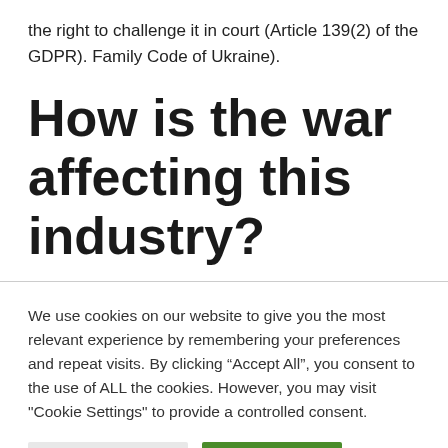the right to challenge it in court (Article 139(2) of the GDPR). Family Code of Ukraine).
How is the war affecting this industry?
We use cookies on our website to give you the most relevant experience by remembering your preferences and repeat visits. By clicking “Accept All”, you consent to the use of ALL the cookies. However, you may visit "Cookie Settings" to provide a controlled consent.
Cookie Settings | Accept All